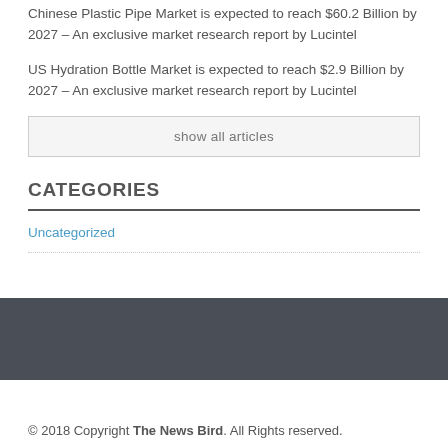Chinese Plastic Pipe Market is expected to reach $60.2 Billion by 2027 – An exclusive market research report by Lucintel
US Hydration Bottle Market is expected to reach $2.9 Billion by 2027 – An exclusive market research report by Lucintel
show all articles
CATEGORIES
Uncategorized
© 2018 Copyright The News Bird. All Rights reserved.